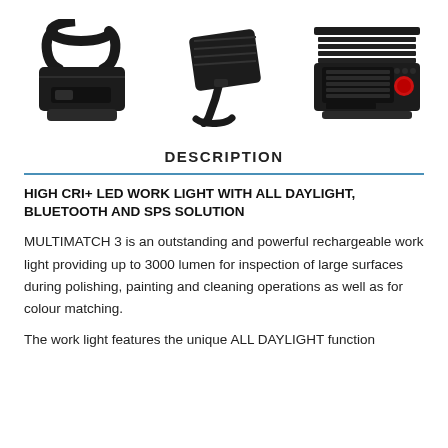[Figure (photo): Three views of the MULTIMATCH 3 LED work light: left view showing handle and body, center view showing tilted angle with stand, right view showing front LED panel with red button]
DESCRIPTION
HIGH CRI+ LED WORK LIGHT WITH ALL DAYLIGHT, BLUETOOTH AND SPS SOLUTION
MULTIMATCH 3 is an outstanding and powerful rechargeable work light providing up to 3000 lumen for inspection of large surfaces during polishing, painting and cleaning operations as well as for colour matching.
The work light features the unique ALL DAYLIGHT function